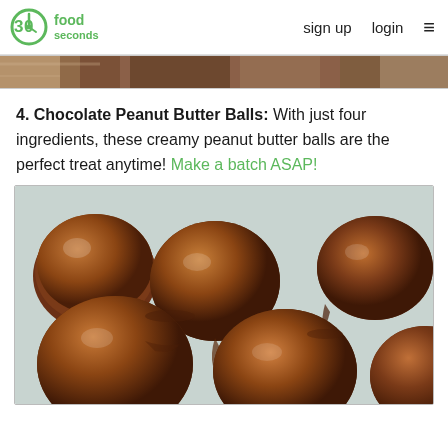30 seconds food  sign up  login
[Figure (photo): Partial view of food items — top strip image banner]
4. Chocolate Peanut Butter Balls: With just four ingredients, these creamy peanut butter balls are the perfect treat anytime! Make a batch ASAP!
[Figure (photo): Close-up photo of chocolate-dipped peanut butter balls on parchment paper, shiny milk chocolate coating with drips]